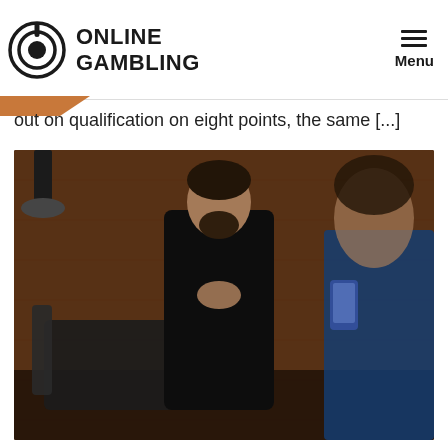ONLINE GAMBLING | Menu
out on qualification on eight points, the same [...]
[Figure (photo): A bearded man in a black jacket stands with hands clasped together near his chin in a pensive pose, in front of a wooden-paneled wall. In the foreground (blurred) is another person holding a smartphone. A black office chair is visible to the left.]